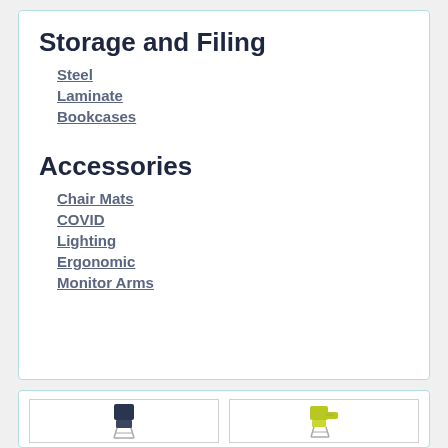Storage and Filing
Steel
Laminate
Bookcases
Accessories
Chair Mats
COVID
Lighting
Ergonomic
Monitor Arms
[Figure (photo): Dark navy/black stackable chair with silver metal legs]
[Figure (photo): Yellow-green stackable chair with tablet arm and silver metal legs]